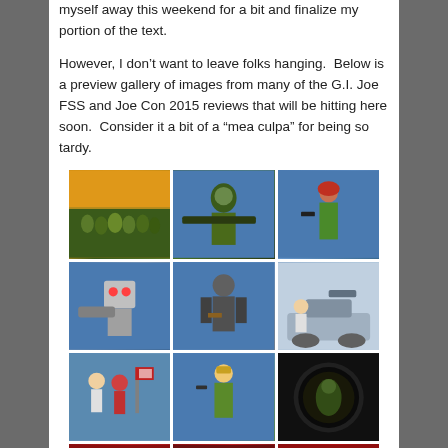myself away this weekend for a bit and finalize my portion of the text.
However, I don't want to leave folks hanging.  Below is a preview gallery of images from many of the G.I. Joe FSS and Joe Con 2015 reviews that will be hitting here soon.  Consider it a bit of a “mea culpa” for being so tardy.
[Figure (photo): 3x4 grid gallery of G.I. Joe action figure photos including group shots, individual figures with weapons, vehicles, and comic panels]